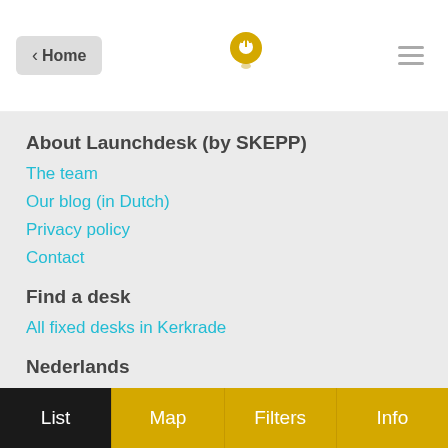< Home
About Launchdesk (by SKEPP)
The team
Our blog (in Dutch)
Privacy policy
Contact
Find a desk
All fixed desks in Kerkrade
Nederlands
Deze pagina in het Nederlands
List  Map  Filters  Info